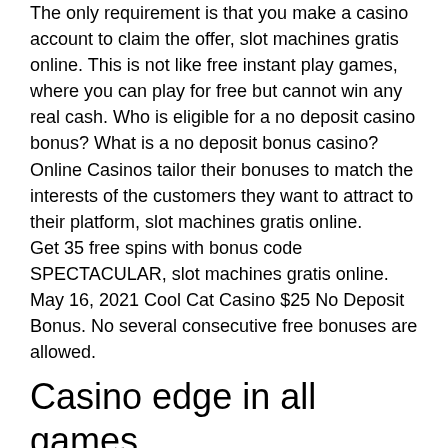The only requirement is that you make a casino account to claim the offer, slot machines gratis online. This is not like free instant play games, where you can play for free but cannot win any real cash. Who is eligible for a no deposit casino bonus? What is a no deposit bonus casino?
Online Casinos tailor their bonuses to match the interests of the customers they want to attract to their platform, slot machines gratis online.
Get 35 free spins with bonus code SPECTACULAR, slot machines gratis online. May 16, 2021 Cool Cat Casino $25 No Deposit Bonus. No several consecutive free bonuses are allowed.
Casino edge in all games
Giochi di, slots offre tutte le slot machine